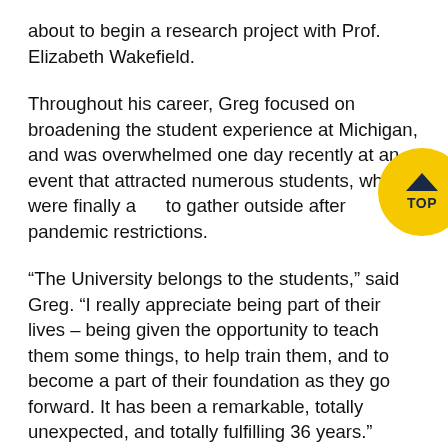about to begin a research project with Prof. Elizabeth Wakefield.
Throughout his career, Greg focused on broadening the student experience at Michigan, and was overwhelmed one day recently at an event that attracted numerous students, who were finally able to gather outside after pandemic restrictions.
“The University belongs to the students,” said Greg. “I really appreciate being part of their lives – being given the opportunity to teach them some things, to help train them, and to become a part of their foundation as they go forward. It has been a remarkable, totally unexpected, and totally fulfilling 36 years.”